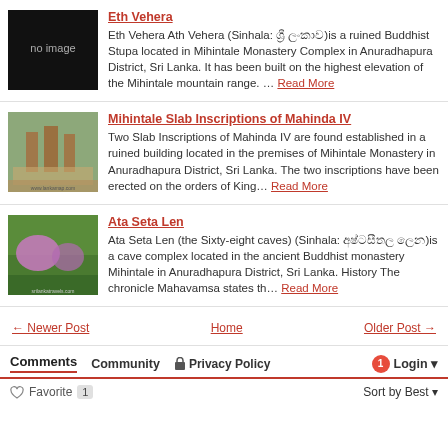[Figure (photo): Black placeholder image with text 'no image']
Eth Vehera
Eth Vehera Ath Vehera (Sinhala: ශ්‍රී ලංකාව)is a ruined Buddhist Stupa located in Mihintale Monastery Complex in Anuradhapura District, Sri Lanka. It has been built on the highest elevation of the Mihintale mountain range. … Read More
[Figure (photo): Photo of Mihintale Slab Inscriptions stone pillars and ruins]
Mihintale Slab Inscriptions of Mahinda IV
Two Slab Inscriptions of Mahinda IV are found established in a ruined building located in the premises of Mihintale Monastery in Anuradhapura District, Sri Lanka. The two inscriptions have been erected on the orders of King… Read More
[Figure (photo): Photo of Ata Seta Len cave area with trees and purple flowering trees]
Ata Seta Len
Ata Seta Len (the Sixty-eight caves) (Sinhala: අෂ්ටසීතල ලෙන)is a cave complex located in the ancient Buddhist monastery Mihintale in Anuradhapura District, Sri Lanka. History The chronicle Mahavamsa states th… Read More
← Newer Post
Home
Older Post →
Comments  Community  🔒 Privacy Policy  1  Login
♡ Favorite  1   Sort by Best